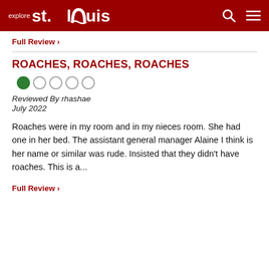explore st.louis
Full Review ›
ROACHES, ROACHES, ROACHES
[Figure (other): 1 out of 5 star rating shown as 1 filled green circle and 4 empty circles]
Reviewed By rhashae
July 2022
Roaches were in my room and in my nieces room. She had one in her bed. The assistant general manager Alaine I think is her name or similar was rude. Insisted that they didn't have roaches. This is a...
Full Review ›